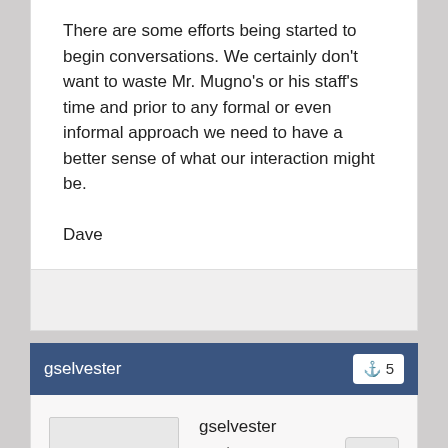There are some efforts being started to begin conversations. We certainly don't want to waste Mr. Mugno's or his staff's time and prior to any formal or even informal approach we need to have a better sense of what our interaction might be.
Dave
gselvester
gselvester
Total Posts: 2683
Joined 11-05-2004